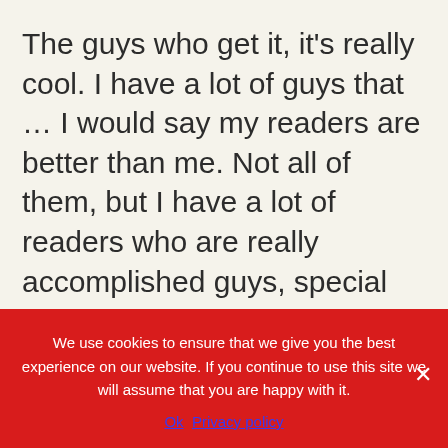The guys who get it, it's really cool. I have a lot of guys that … I would say my readers are better than me. Not all of them, but I have a lot of readers who are really accomplished guys, special forces guys. A lot of them, people who have been successful in business or lifting or whatever and they contact me and they realize that I'm just a guy who was trying to figure something out. They contact
We use cookies to ensure that we give you the best experience on our website. If you continue to use this site we will assume that you are happy with it.
Ok   Privacy policy